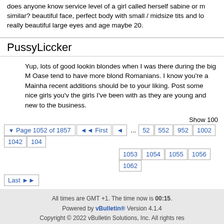does anyone know service level of a girl called herself sabine or m similar? beautiful face, perfect body with small / midsize tits and lo really beautiful large eyes and age maybe 20.
PussyLiccker
Yup, lots of good lookin blondes when I was there during the big M Oase tend to have more blond Romanians. I know you're a Mainha recent additions should be to your liking. Post some nice girls you'v the girls I've been with as they are young and new to the business.
Show 100
Page 1052 of 1857  First  ◄  ...  52  552  952  1002  1042  104  1053  1054  1055  1056  1062  Last
All times are GMT +1. The time now is 00:15. Powered by vBulletin® Version 4.1.4 Copyright © 2022 vBulletin Solutions, Inc. All rights reserved. Website owned by ISG Internet Sales EU UK Office: Unit 8, Watch Oak Business Centre, Chain Lane, Battle, Ea Copyright ©2000 - 2019 All Rights Reserved